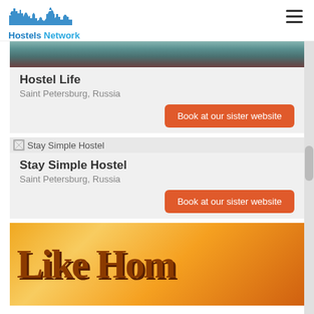Hostels Network
[Figure (photo): Partial view of hostel interior image at top of page, showing dark reddish-brown furniture tones]
Hostel Life
Saint Petersburg, Russia
Book at our sister website
[Figure (photo): Broken image placeholder labeled Stay Simple Hostel]
Stay Simple Hostel
Saint Petersburg, Russia
Book at our sister website
[Figure (photo): Like Home hostel sign — large orange 3D letters spelling 'Like Home' on warm orange background]